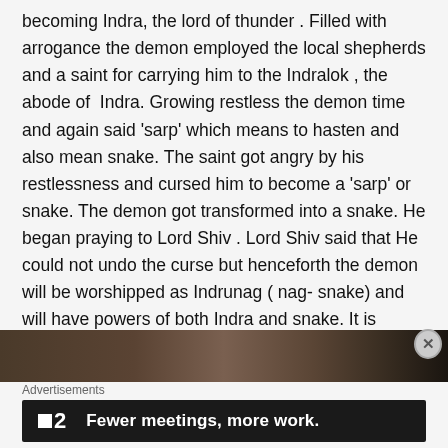becoming Indra, the lord of thunder . Filled with arrogance the demon employed the local shepherds and a saint for carrying him to the Indralok , the abode of Indra. Growing restless the demon time and again said 'sarp' which means to hasten and also mean snake. The saint got angry by his restlessness and cursed him to become a 'sarp' or snake. The demon got transformed into a snake. He began praying to Lord Shiv . Lord Shiv said that He could not undo the curse but henceforth the demon will be worshipped as Indrunag ( nag- snake) and will have powers of both Indra and snake. It is believed that all your heartfelt wishes are fulfilled here.
[Figure (photo): Partial photo strip showing a dark outdoor/nature scene, partially obscured]
Advertisements
[Figure (other): Advertisement banner: dark background with logo showing a small square and '2', text reading 'Fewer meetings, more work.']